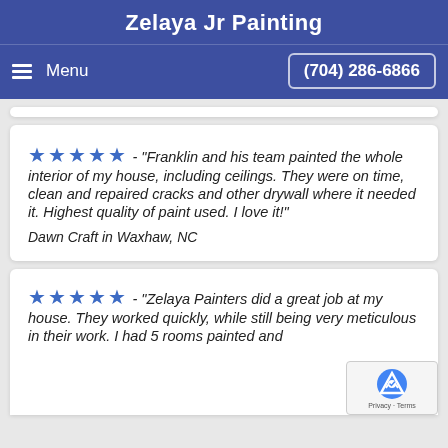Zelaya Jr Painting
Menu  (704) 286-6866
★★★★★ - "Franklin and his team painted the whole interior of my house, including ceilings. They were on time, clean and repaired cracks and other drywall where it needed it. Highest quality of paint used. I love it!"
Dawn Craft in Waxhaw, NC
★★★★★ - "Zelaya Painters did a great job at my house. They worked quickly, while still being very meticulous in their work. I had 5 rooms painted and...